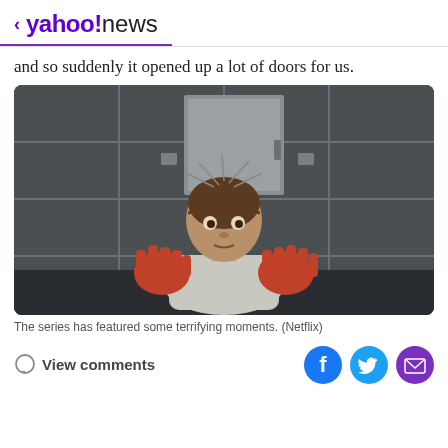< yahoo!news
and so suddenly it opened up a lot of doors for us.
[Figure (photo): A child with EEG electrodes attached to their head, holding up blood-covered hands in a tiled room, from the Netflix series Stranger Things.]
The series has featured some terrifying moments. (Netflix)
View comments